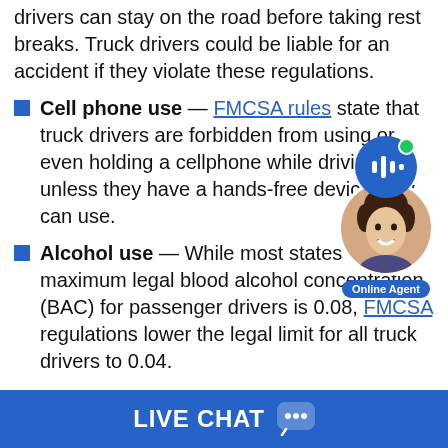drivers can stay on the road before taking rest breaks. Truck drivers could be liable for an accident if they violate these regulations.
Cell phone use — FMCSA rules state that truck drivers are forbidden from using or even holding a cellphone while driving unless they have a hands-free device they can use.
Alcohol use — While most states' maximum legal blood alcohol concentration (BAC) for passenger drivers is 0.08, FMCSA regulations lower the legal limit for all truck drivers to 0.04.
In addition to FMCSA regulations, truck drivers must also obey Colorado trucking laws. It's crucial to hire a
[Figure (other): Live chat widget with a blue circular icon showing audio waveform bars, a green online indicator dot, an agent photo of a smiling man, and an 'Online Agent' label badge]
LIVE CHAT